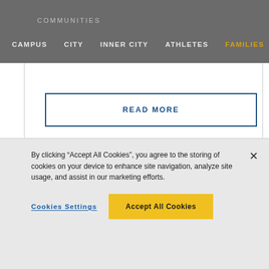COMMUNITIES
CAMPUS   CITY   INNER CITY   ATHLETES   FAMILIES   HIG
READ MORE
[Figure (photo): Partial view of a person with curly hair against a blue and yellow background]
By clicking “Accept All Cookies”, you agree to the storing of cookies on your device to enhance site navigation, analyze site usage, and assist in our marketing efforts.
Cookies Settings   Accept All Cookies